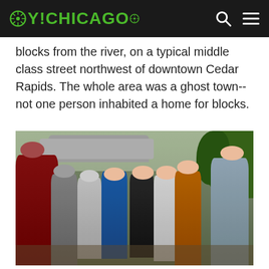OY!CHICAGO
blocks from the river, on a typical middle class street northwest of downtown Cedar Rapids. The whole area was a ghost town--not one person inhabited a home for blocks.
[Figure (photo): Group of people standing in a circle outdoors in a yard or driveway area, some wearing masks, with a truck and greenery visible in the background. Appears to be a volunteer or community gathering.]